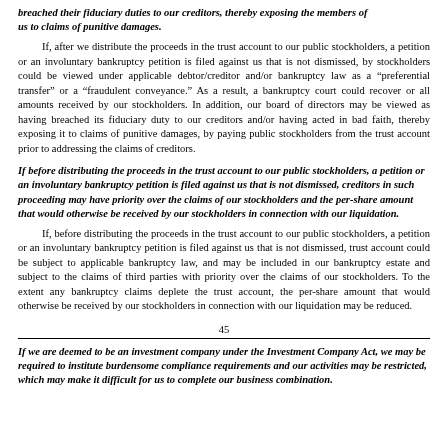breached their fiduciary duties to our creditors, thereby exposing the members of us to claims of punitive damages.
If, after we distribute the proceeds in the trust account to our public stockholders, a petition or an involuntary bankruptcy petition is filed against us that is not dismissed, by stockholders could be viewed under applicable debtor/creditor and/or bankruptcy law as a "preferential transfer" or a "fraudulent conveyance." As a result, a bankruptcy court could recover or all amounts received by our stockholders. In addition, our board of directors may be viewed as having breached its fiduciary duty to our creditors and/or having acted in bad faith, thereby exposing it to claims of punitive damages, by paying public stockholders from the trust account prior to addressing the claims of creditors.
If before distributing the proceeds in the trust account to our public stockholders, a petition or an involuntary bankruptcy petition is filed against us that is not dismissed, creditors in such proceeding may have priority over the claims of our stockholders and the per-share amount that would otherwise be received by our stockholders in connection with our liquidation.
If, before distributing the proceeds in the trust account to our public stockholders, a petition or an involuntary bankruptcy petition is filed against us that is not dismissed, trust account could be subject to applicable bankruptcy law, and may be included in our bankruptcy estate and subject to the claims of third parties with priority over the claims of our stockholders. To the extent any bankruptcy claims deplete the trust account, the per-share amount that would otherwise be received by our stockholders in connection with our liquidation may be reduced.
45
If we are deemed to be an investment company under the Investment Company Act, we may be required to institute burdensome compliance requirements and our activities may be restricted, which may make it difficult for us to complete our business combination.